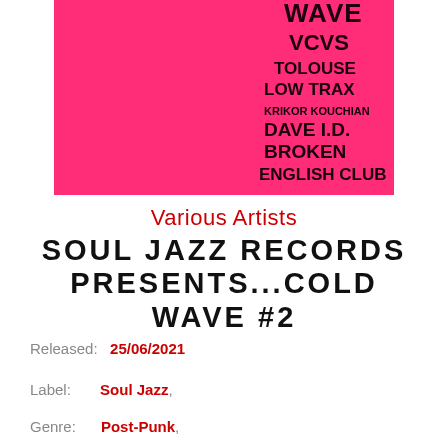[Figure (illustration): Album cover for Soul Jazz Records Presents...Cold Wave #2. Hot pink/magenta background with bold black text listing artist names: VCVS, TOLOUSE LOW TRAX, KRIKOR KOUCHIAN, DAVE I.D., BROKEN ENGLISH CLUB, with the word WAVE visible at the top.]
Various Artists
SOUL JAZZ RECORDS PRESENTS...COLD WAVE #2
Released:  25/06/2021
Label:  Soul Jazz,
Genre:  Post-Punk,